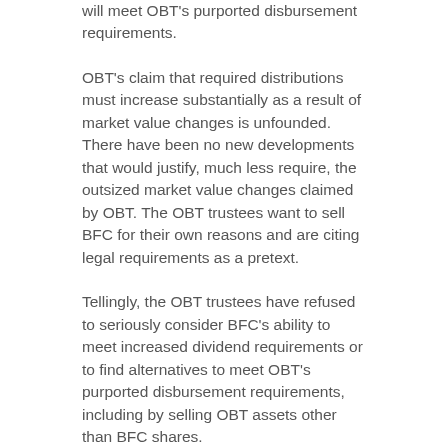will meet OBT's purported disbursement requirements.
OBT's claim that required distributions must increase substantially as a result of market value changes is unfounded. There have been no new developments that would justify, much less require, the outsized market value changes claimed by OBT. The OBT trustees want to sell BFC for their own reasons and are citing legal requirements as a pretext.
Tellingly, the OBT trustees have refused to seriously consider BFC's ability to meet increased dividend requirements or to find alternatives to meet OBT's purported disbursement requirements, including by selling OBT assets other than BFC shares.